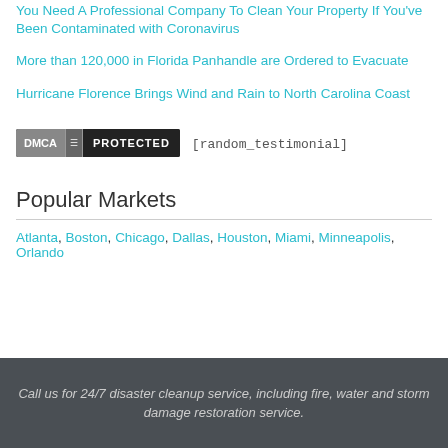You Need A Professional Company To Clean Your Property If You've Been Contaminated with Coronavirus
More than 120,000 in Florida Panhandle are Ordered to Evacuate
Hurricane Florence Brings Wind and Rain to North Carolina Coast
[Figure (logo): DMCA Protected badge]
[random_testimonial]
Popular Markets
Atlanta, Boston, Chicago, Dallas, Houston, Miami, Minneapolis, Orlando
Call us for 24/7 disaster cleanup service, including fire, water and storm damage restoration service.